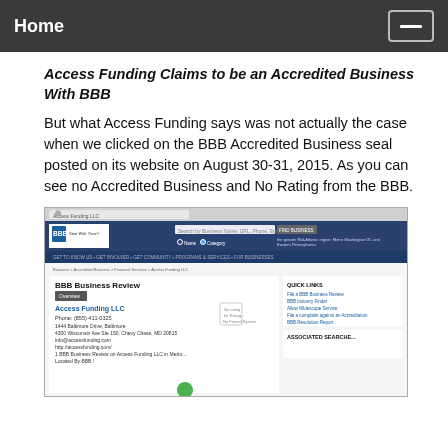Home
Access Funding Claims to be an Accredited Business With BBB
But what Access Funding says was not actually the case when we clicked on the BBB Accredited Business seal posted on its website on August 30-31, 2015. As you can see no Accredited Business and No Rating from the BBB.
[Figure (screenshot): Screenshot of BBB Business Review page for Access Funding LLC showing the BBB website with no accreditation or rating displayed]